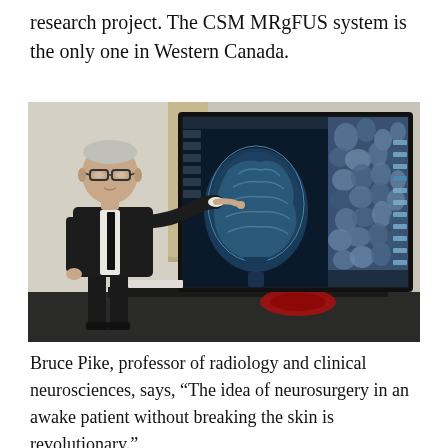research project. The CSM MRgFUS system is the only one in Western Canada.
[Figure (photo): A man in a dark suit and glasses (Bruce Pike, professor of radiology and clinical neurosciences) points at a large display screen showing an MRI brain scan on the left side and a desktop computer interface with blue stones wallpaper on the right side. A red cable coil is visible on the desk below the screen.]
Bruce Pike, professor of radiology and clinical neurosciences, says, “The idea of neurosurgery in an awake patient without breaking the skin is revolutionary.”